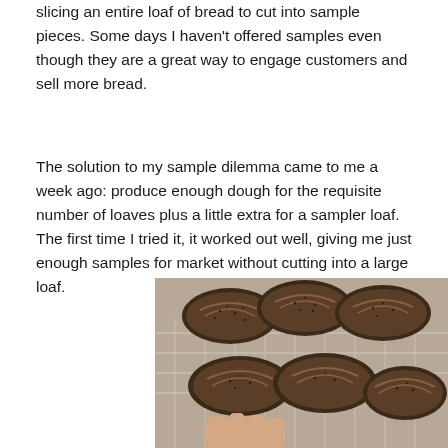…slicing an entire loaf of bread to cut into sample pieces. Some days I haven't offered samples even though they are a great way to engage customers and sell more bread.
The solution to my sample dilemma came to me a week ago: produce enough dough for the requisite number of loaves plus a little extra for a sampler loaf. The first time I tried it, it worked out well, giving me just enough samples for market without cutting into a large loaf.
[Figure (photo): Six small poppy seed bread rolls arranged on a wire cooling rack, with a hand visible at the bottom holding one of the rolls.]